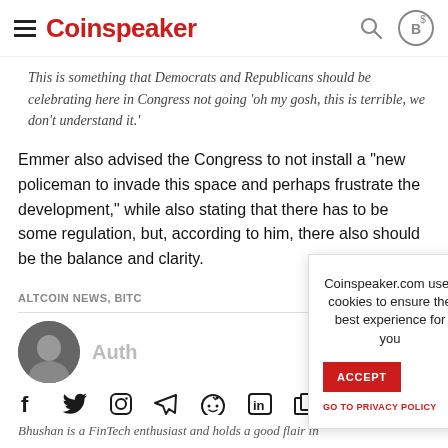Coinspeaker
This is something that Democrats and Republicans should be celebrating here in Congress not going 'oh my gosh, this is terrible, we don't understand it.'
Emmer also advised the Congress to not install a "new policeman to invade this space and perhaps frustrate the development," while also stating that there has to be some regulation, but, according to him, there also should be the balance and clarity.
ALTCOIN NEWS, BITC
Author
Bhushan is a FinTech enthusiast and holds a good flair in
Coinspeaker.com uses cookies to ensure the best experience for you